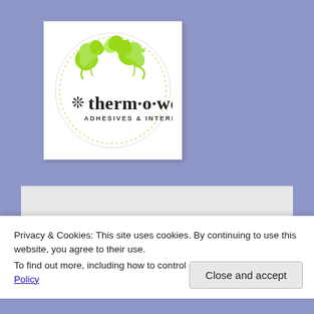[Figure (logo): Therm-o-web Adhesives & Interfacings circular logo with green floral/leaf decorative swirls on white background with dotted circle border]
Privacy & Cookies: This site uses cookies. By continuing to use this website, you agree to their use.
To find out more, including how to control cookies, see here: Cookie Policy
Close and accept